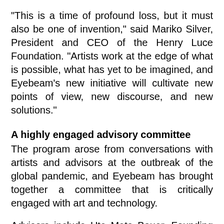“This is a time of profound loss, but it must also be one of invention,” said Mariko Silver, President and CEO of the Henry Luce Foundation. “Artists work at the edge of what is possible, what has yet to be imagined, and Eyebeam’s new initiative will cultivate new points of view, new discourse, and new solutions.”
A highly engaged advisory committee
The program arose from conversations with artists and advisors at the outbreak of the global pandemic, and Eyebeam has brought together a committee that is critically engaged with art and technology.
Advisors include Ute Meta Bauer, Founding Director, Centre for Contemporary Art, Singapore; Suhaly Bautista-Carolina, Senior Managing Educator, Audience Development and Engagement at The Metropolitan Museum of